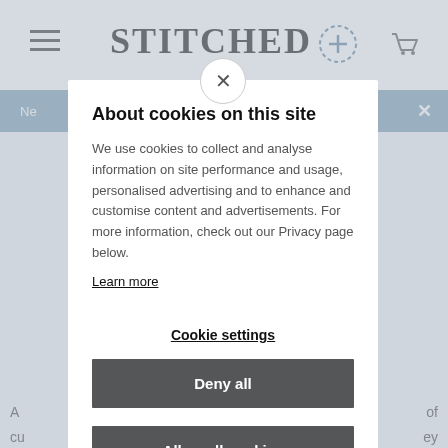[Figure (screenshot): Stitched website header with hamburger menu, STITCHED logo, plus icon, and cart icon on white nav bar]
[Figure (screenshot): Blue notification banner with white text 'Ne...' and close X button]
About cookies on this site
We use cookies to collect and analyse information on site performance and usage, personalised advertising and to enhance and customise content and advertisements. For more information, check out our Privacy page below.
Learn more
Cookie settings
Deny all
Allow all cookies
can work their magic...